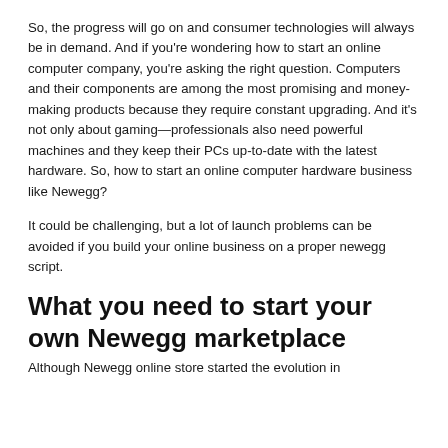So, the progress will go on and consumer technologies will always be in demand. And if you're wondering how to start an online computer company, you're asking the right question. Computers and their components are among the most promising and money-making products because they require constant upgrading. And it's not only about gaming—professionals also need powerful machines and they keep their PCs up-to-date with the latest hardware. So, how to start an online computer hardware business like Newegg?
It could be challenging, but a lot of launch problems can be avoided if you build your online business on a proper newegg script.
What you need to start your own Newegg marketplace
Although Newegg online store started the evolution in...